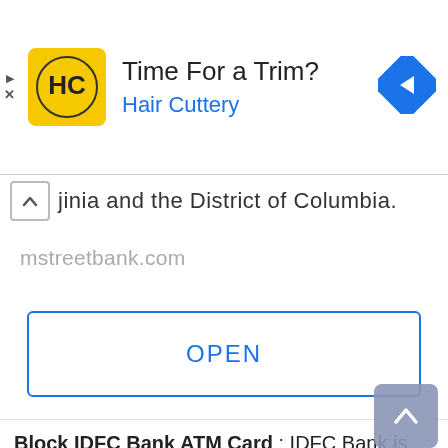[Figure (screenshot): Hair Cuttery advertisement banner with yellow square logo, 'Time For a Trim?' headline, 'Hair Cuttery' in blue, and a blue navigation arrow diamond icon on the right]
jinia and the District of Columbia.
mstreetbank.com
OPEN
Block IDFC Bank ATM Card : IDFC Bank is one of the well known banks in India. It provides all its account holders with ATM-Cum-Debit Card. An ATM Card is used to withdraw money using an ATM machine and for various other transactions online and offline. With the help of an ATM Card you can perform easy and quick transactions. Usually we keep our ATM Card in Wallet or Purse. What if your Wallet and ATM Card gets lost or stolen ? You need to keep